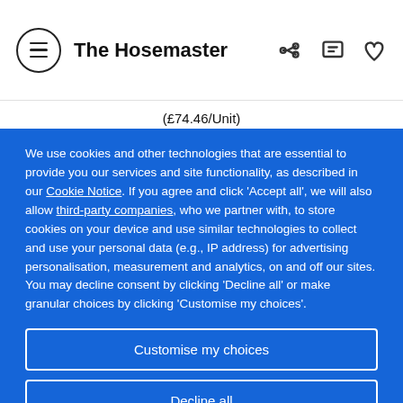The Hosemaster
(£74.46/Unit)
We use cookies and other technologies that are essential to provide you our services and site functionality, as described in our Cookie Notice. If you agree and click 'Accept all', we will also allow third-party companies, who we partner with, to store cookies on your device and use similar technologies to collect and use your personal data (e.g., IP address) for advertising personalisation, measurement and analytics, on and off our sites. You may decline consent by clicking 'Decline all' or make granular choices by clicking 'Customise my choices'.
Customise my choices
Decline all
Accept all